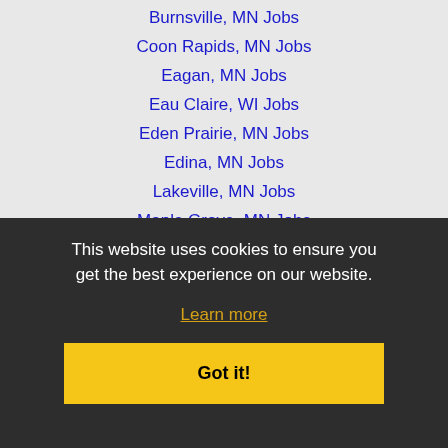Burnsville, MN Jobs
Coon Rapids, MN Jobs
Eagan, MN Jobs
Eau Claire, WI Jobs
Eden Prairie, MN Jobs
Edina, MN Jobs
Lakeville, MN Jobs
Maple Grove, MN Jobs
Minneapolis, MN Jobs
Minnetonka, MN Jobs
Plymouth, MN Jobs
Rochester, MN Jobs
Saint Cloud, MN Jobs
Shoreview Park, MN Jobs
St. Paul, MN Jobs
Woodbury, MN Jobs
This website uses cookies to ensure you get the best experience on our website.
Learn more
Got it!